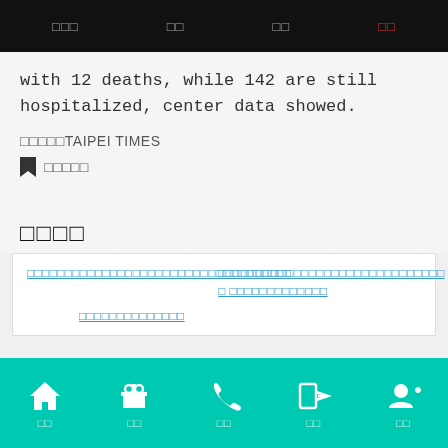□□□  □□  □□  □□
with 12 deaths, while 142 are still hospitalized, center data showed.
□□□□□TAIPEI TIMES
□□□□□
□□□□
□□□□□□□□□□□□□□□□□□□□□□□□□□ □□□□□□□□□□
□□□□□□□□□□□□□□□□□□□□□□□□□□□□ □ □□□□□□□□□□□□□
□□□□□□□□□□□□□□
首頁  活動  撥號  登入  註冊